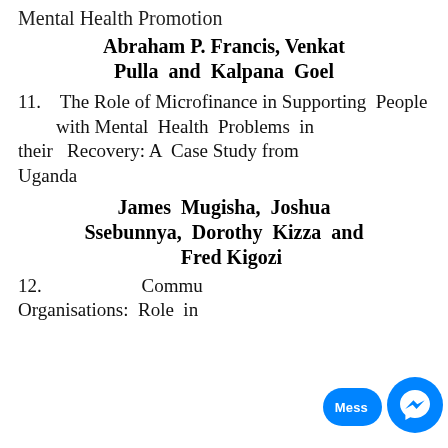Mental Health Promotion
Abraham P. Francis, Venkat Pulla and Kalpana Goel
11.   The Role of Microfinance in Supporting People with Mental Health Problems in their Recovery: A Case Study from Uganda
James Mugisha, Joshua Ssebunnya, Dorothy Kizza and Fred Kigozi
12.                        Community [partially obscured] Organisations: Role in